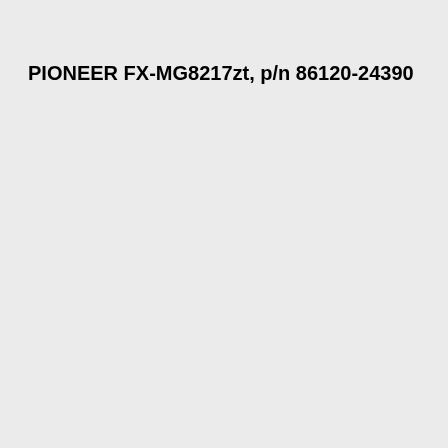PIONEER FX-MG8217zt, p/n 86120-24390